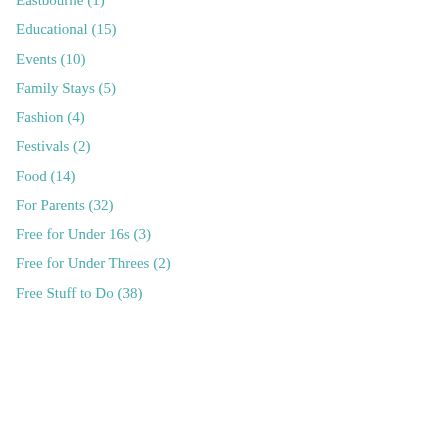Eastbourne (1)
Educational (15)
Events (10)
Family Stays (5)
Fashion (4)
Festivals (2)
Food (14)
For Parents (32)
Free for Under 16s (3)
Free for Under Threes (2)
Free Stuff to Do (38)